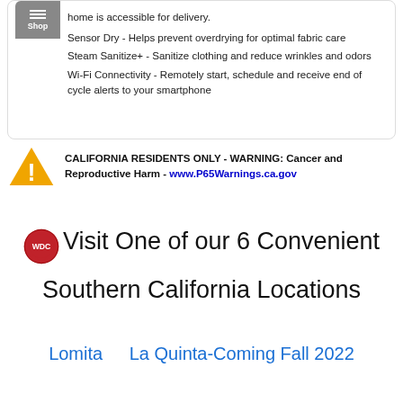home is accessible for delivery.
Sensor Dry - Helps prevent overdrying for optimal fabric care
Steam Sanitize+ - Sanitize clothing and reduce wrinkles and odors
Wi-Fi Connectivity - Remotely start, schedule and receive end of cycle alerts to your smartphone
CALIFORNIA RESIDENTS ONLY - WARNING: Cancer and Reproductive Harm - www.P65Warnings.ca.gov
Visit One of our 6 Convenient Southern California Locations
Lomita    La Quinta-Coming Fall 2022